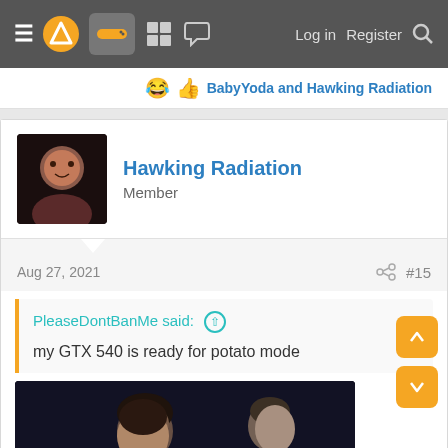≡ [logo] [gamepad icon] [grid icon] [chat icon]   Log in   Register   🔍
😂 👍 BabyYoda and Hawking Radiation
Hawking Radiation
Member
Aug 27, 2021   #15
PleaseDontBanMe said: ↑
my GTX 540 is ready for potato mode
[Figure (photo): Two men facing each other in a dimly lit scene, movie still]